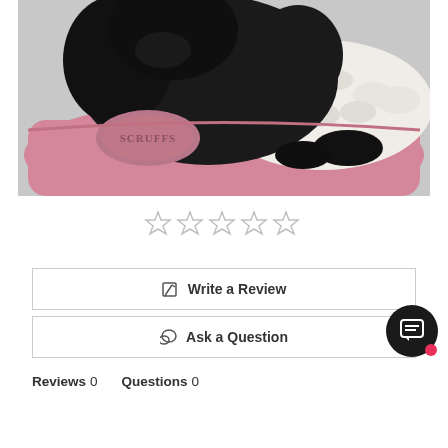[Figure (photo): Black dog resting on a pink Scruffs branded pet bed/cushion with white fleece interior]
[Figure (other): Five empty star rating icons (no stars filled)]
✎  Write a Review
💬  Ask a Question
Reviews  0        Questions  0